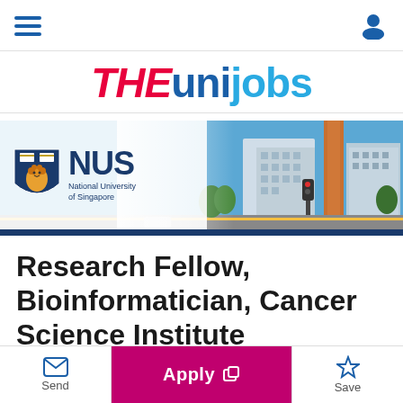THEunijobs
[Figure (logo): NUS National University of Singapore banner with campus building photo]
Research Fellow, Bioinformatician, Cancer Science Institute